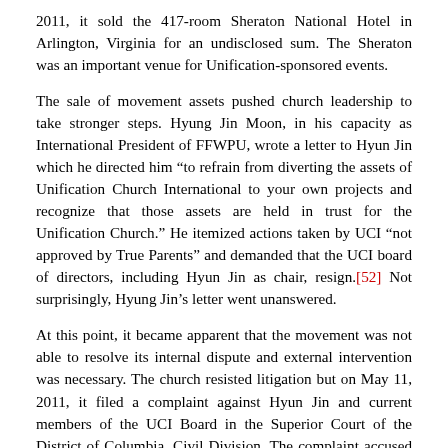2011, it sold the 417-room Sheraton National Hotel in Arlington, Virginia for an undisclosed sum. The Sheraton was an important venue for Unification-sponsored events.
The sale of movement assets pushed church leadership to take stronger steps. Hyung Jin Moon, in his capacity as International President of FFWPU, wrote a letter to Hyun Jin which he directed him “to refrain from diverting the assets of Unification Church International to your own projects and recognize that those assets are held in trust for the Unification Church.” He itemized actions taken by UCI “not approved by True Parents” and demanded that the UCI board of directors, including Hyun Jin as chair, resign.[52] Not surprisingly, Hyung Jin’s letter went unanswered.
At this point, it became apparent that the movement was not able to resolve its internal dispute and external intervention was necessary. The church resisted litigation but on May 11, 2011, it filed a complaint against Hyun Jin and current members of the UCI Board in the Superior Court of the District of Columbia, Civil Division. The complaint accused them of usurping UCI and its assets and